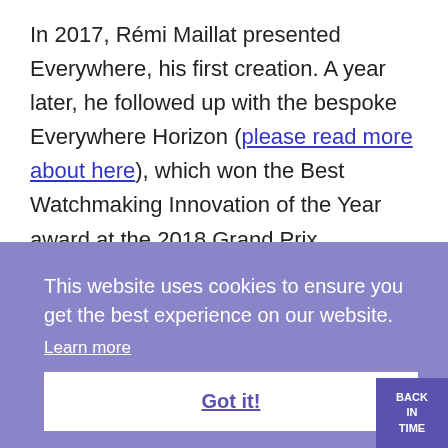In 2017, Rémi Maillat presented Everywhere, his first creation. A year later, he followed up with the bespoke Everywhere Horizon (please read more about here), which won the Best Watchmaking Innovation of the Year award at the 2018 Grand Prix d'Horlogerie de Genève.
This website uses cookies to ensure you get the best experience on our website. Learn more
Got it!
BACK IN TIME